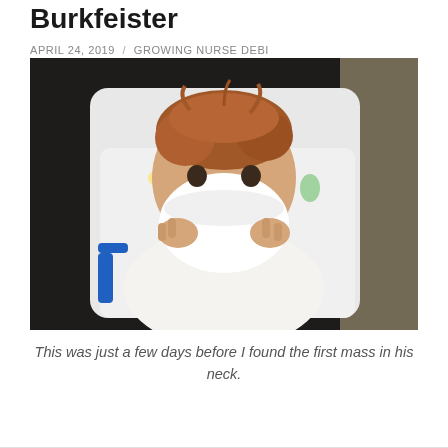Burkfeister
APRIL 24, 2019 / GROWING NURSE DEBI
[Figure (photo): A toddler with light reddish-brown hair sitting in a high chair, holding a white cup up to their face, covering their mouth. The child is wearing a light-colored outfit with small prints. The background is dark.]
This was just a few days before I found the first mass in his neck.